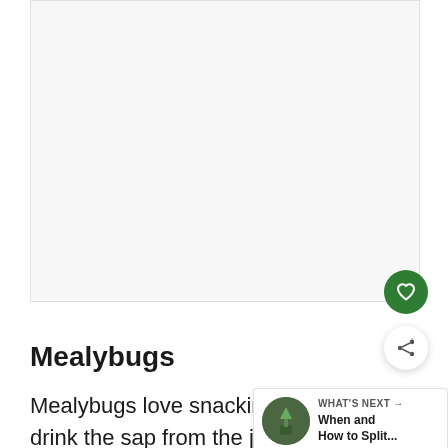[Figure (photo): Large white/light gray blank image placeholder area]
Mealybugs
Mealybugs love snacking on succul… drink the sap from the jade plant, causing the